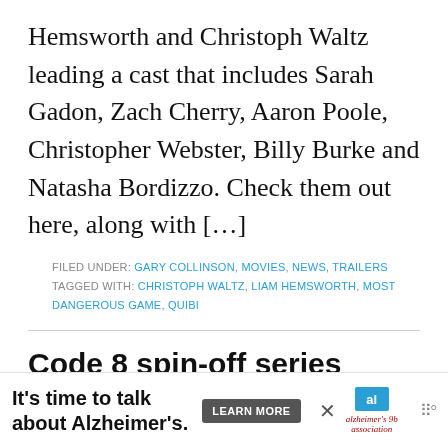Hemsworth and Christoph Waltz leading a cast that includes Sarah Gadon, Zach Cherry, Aaron Poole, Christopher Webster, Billy Burke and Natasha Bordizzo. Check them out here, along with […]
FILED UNDER: GARY COLLINSON, MOVIES, NEWS, TRAILERS
TAGGED WITH: CHRISTOPH WALTZ, LIAM HEMSWORTH, MOST DANGEROUS GAME, QUIBI
Code 8 spin-off series announced with Stephen Amell and Robbie Amell
DECEMBER 11, 2019 BY RICKY CHURCH
[Figure (other): Alzheimer's Association advertisement banner: 'It's time to talk about Alzheimer's.' with a Learn More button and the Alzheimer's Association logo.]